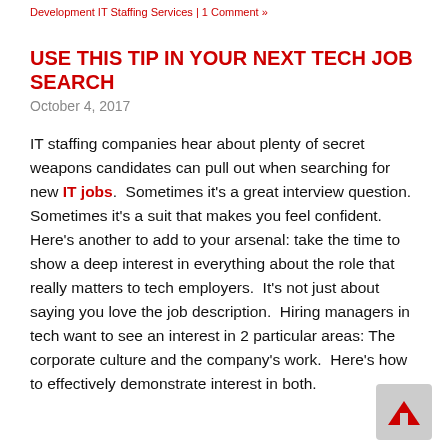Development IT Staffing Services | 1 Comment »
USE THIS TIP IN YOUR NEXT TECH JOB SEARCH
October 4, 2017
IT staffing companies hear about plenty of secret weapons candidates can pull out when searching for new IT jobs.  Sometimes it's a great interview question.  Sometimes it's a suit that makes you feel confident.  Here's another to add to your arsenal: take the time to show a deep interest in everything about the role that really matters to tech employers.  It's not just about saying you love the job description.  Hiring managers in tech want to see an interest in 2 particular areas: The corporate culture and the company's work.  Here's how to effectively demonstrate interest in both.